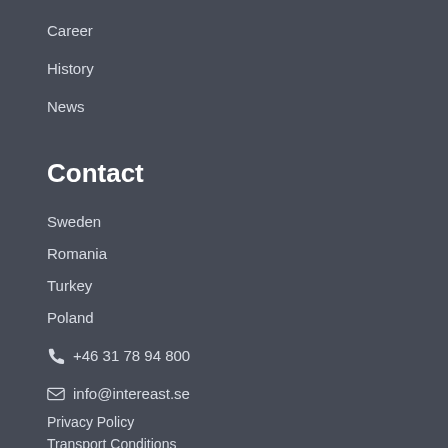Career
History
News
Contact
Sweden
Romania
Turkey
Poland
+46 31 78 94 800
info@intereast.se
Privacy Policy
Transport Conditions